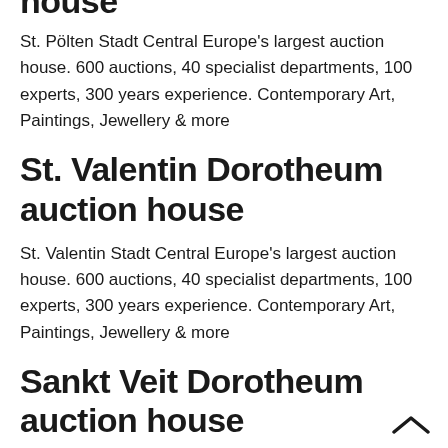house
St. Pölten Stadt Central Europe's largest auction house. 600 auctions, 40 specialist departments, 100 experts, 300 years experience. Contemporary Art, Paintings, Jewellery & more
St. Valentin Dorotheum auction house
St. Valentin Stadt Central Europe's largest auction house. 600 auctions, 40 specialist departments, 100 experts, 300 years experience. Contemporary Art, Paintings, Jewellery & more
Sankt Veit Dorotheum auction house
Sankt Veit Stadt Central Europe's largest auction